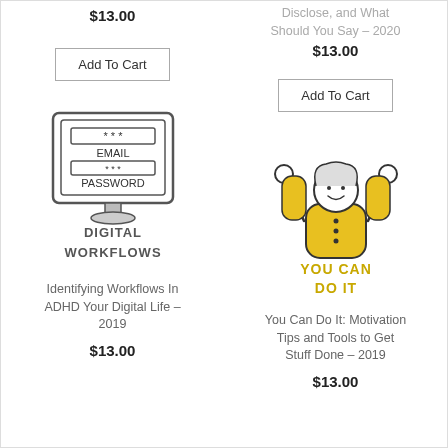$13.00
Disclose, and What Should You Say – 2020
$13.00
Add To Cart
Add To Cart
[Figure (illustration): Illustration of a computer monitor showing EMAIL and PASSWORD fields with asterisks, with text 'DIGITAL WORKFLOWS' below in bold stylized font]
[Figure (illustration): Illustration of a woman with arms raised in celebration wearing yellow outfit, with text 'YOU CAN DO IT' in yellow below]
Identifying Workflows In ADHD Your Digital Life – 2019
You Can Do It: Motivation Tips and Tools to Get Stuff Done – 2019
$13.00
$13.00